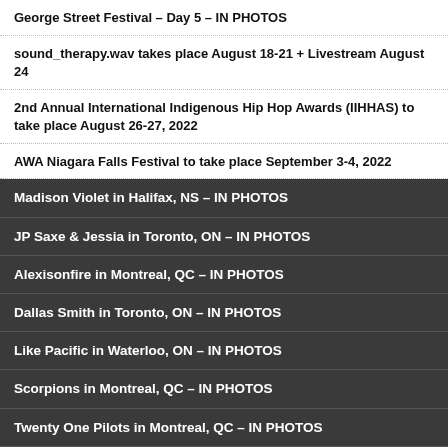George Street Festival – Day 5 – IN PHOTOS
sound_therapy.wav takes place August 18-21 + Livestream August 24
2nd Annual International Indigenous Hip Hop Awards (IIHHAS) to take place August 26-27, 2022
AWA Niagara Falls Festival to take place September 3-4, 2022
Madison Violet in Halifax, NS – IN PHOTOS
JP Saxe & Jessia in Toronto, ON – IN PHOTOS
Alexisonfire in Montreal, QC – IN PHOTOS
Dallas Smith in Toronto, ON – IN PHOTOS
Like Pacific in Waterloo, ON – IN PHOTOS
Scorpions in Montreal, QC – IN PHOTOS
Twenty One Pilots in Montreal, QC – IN PHOTOS